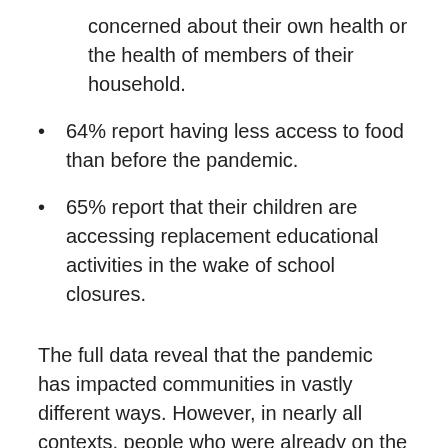concerned about their own health or the health of members of their household.
64% report having less access to food than before the pandemic.
65% report that their children are accessing replacement educational activities in the wake of school closures.
The full data reveal that the pandemic has impacted communities in vastly different ways. However, in nearly all contexts, people who were already on the margins are now worse off than before, says Lisa Hartenberger-Toby, who leads EDC's International Monitoring, Evaluation and